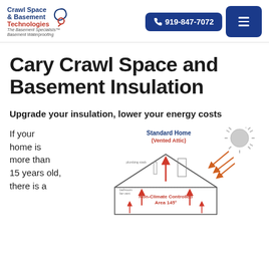Crawl Space & Basement Technologies — 919-847-7072
Cary Crawl Space and Basement Insulation
Upgrade your insulation, lower your energy costs
If your home is more than 15 years old, there is a
[Figure (schematic): Cross-section diagram of a Standard Home (Vented Attic) showing Non-Climate Controlled Area 145° with red arrows indicating heat flow and sun radiation hitting the roof]